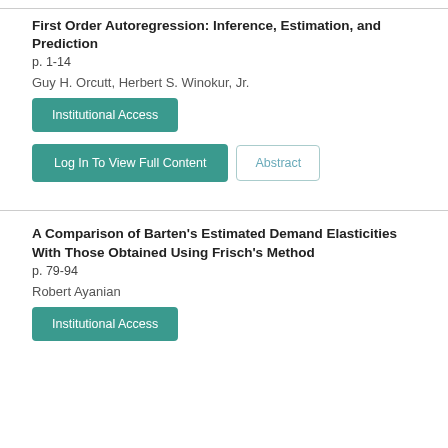First Order Autoregression: Inference, Estimation, and Prediction
p. 1-14
Guy H. Orcutt, Herbert S. Winokur, Jr.
Institutional Access
Log In To View Full Content
Abstract
A Comparison of Barten's Estimated Demand Elasticities With Those Obtained Using Frisch's Method
p. 79-94
Robert Ayanian
Institutional Access